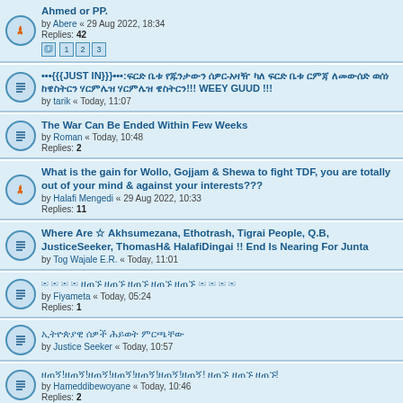Ahmed or PP. by Abere « 29 Aug 2022, 18:34 Replies: 42
•••{{{JUST IN}}}•••:[non-latin text] !!! WEEY GUUD !!! by tarik « Today, 11:07
The War Can Be Ended Within Few Weeks by Roman « Today, 10:48 Replies: 2
What is the gain for Wollo, Gojjam & Shewa to fight TDF, you are totally out of your mind & against your interests??? by Halafi Mengedi « 29 Aug 2022, 10:33 Replies: 11
Where Are ☆ Akhsumezana, Ethotrash, Tigrai People, Q.B, JusticeSeeker, ThomasH& HalafiDingai !! End Is Nearing For Junta by Tog Wajale E.R. « Today, 11:01
[non-latin text] by Fiyameta « Today, 05:24 Replies: 1
[non-latin text] by Justice Seeker « Today, 10:57
[non-latin text] by Hameddibewoyane « Today, 10:46 Replies: 2
The Ethiopian army shows photoshopped POW pictures! by Axumezana « Today, 10:44